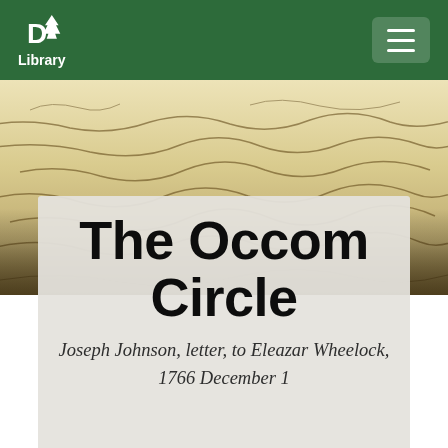Dartmouth Library
[Figure (photo): Background showing an aged manuscript with cursive handwriting, yellowed paper with brown ink script visible]
The Occom Circle
Joseph Johnson, letter, to Eleazar Wheelock, 1766 December 1